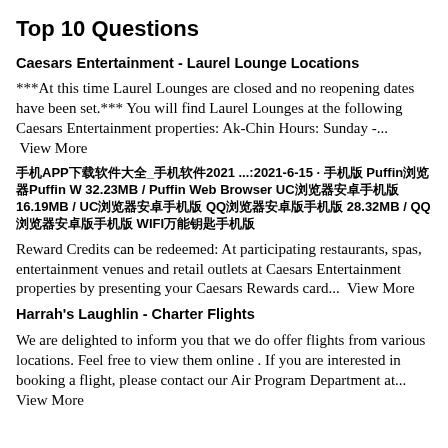Top 10 Questions
Caesars Entertainment - Laurel Lounge Locations
***At this time Laurel Lounges are closed and no reopening dates have been set.*** You will find Laurel Lounges at the following Caesars Entertainment properties: Ak-Chin Hours: Sunday -...  View More
手机APP下载软件大全_手机软件2021 ...:2021-6-15 · 手机版 Puffin浏览器Puffin W 32.23MB / Puffin Web Browser UC浏览器安卓手机版 16.19MB / UC浏览器安卓手机版 QQ浏览器安卓版手机版 28.32MB / QQ浏览器安卓版手机版 WIFI万能钥匙手机版
Reward Credits can be redeemed: At participating restaurants, spas, entertainment venues and retail outlets at Caesars Entertainment properties by presenting your Caesars Rewards card...  View More
Harrah's Laughlin - Charter Flights
We are delighted to inform you that we do offer flights from various locations. Feel free to view them online . If you are interested in booking a flight, please contact our Air Program Department at...  View More